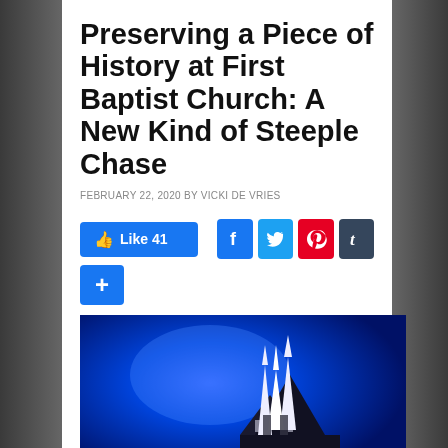Preserving a Piece of History at First Baptist Church: A New Kind of Steeple Chase
FEBRUARY 22, 2020 BY VICKI DE VRIES
[Figure (screenshot): Social sharing buttons: Facebook Like button showing 41 likes, Facebook share, Twitter share, Pinterest share, Tumblr share, and a plus button]
[Figure (photo): Photo of First Baptist Church steeple against a vivid blue night sky]